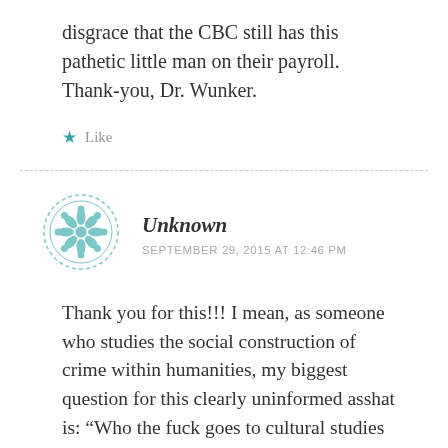disgrace that the CBC still has this pathetic little man on their payroll. Thank-you, Dr. Wunker.
Like
Unknown
SEPTEMBER 29, 2015 AT 12:46 PM
Thank you for this!!! I mean, as someone who studies the social construction of crime within humanities, my biggest question for this clearly uninformed asshat is: “Who the fuck goes to cultural studies and says 'you shouldn't study culture sweetie, that's wasteful silliness uwu'?!?!?". NO! This shithead doesn't know his